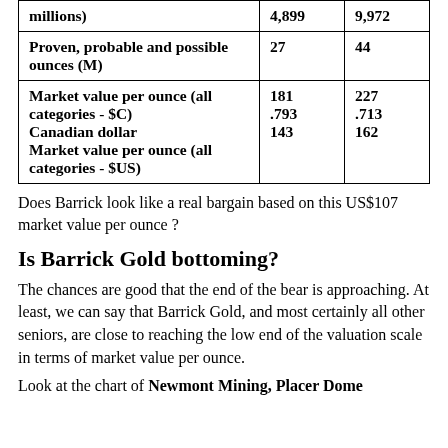|  |  |  |
| --- | --- | --- |
| millions) | 4,899 | 9,972 |
| Proven, probable and possible ounces (M) | 27 | 44 |
| Market value per ounce (all categories - $C)
Canadian dollar
Market value per ounce (all categories - $US) | 181
.793
143 | 227
.713
162 |
Does Barrick look like a real bargain based on this US$107 market value per ounce ?
Is Barrick Gold bottoming?
The chances are good that the end of the bear is approaching. At least, we can say that Barrick Gold, and most certainly all other seniors, are close to reaching the low end of the valuation scale in terms of market value per ounce.
Look at the chart of Newmont Mining, Placer Dome